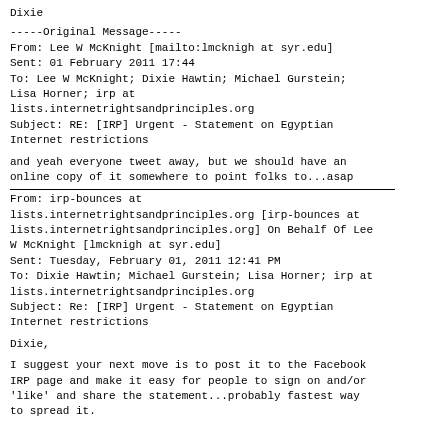Dixie
-----Original Message-----
From: Lee W McKnight [mailto:lmcknigh at syr.edu]
Sent: 01 February 2011 17:44
To: Lee W McKnight; Dixie Hawtin; Michael Gurstein; Lisa Horner; irp at lists.internetrightsandprinciples.org
Subject: RE: [IRP] Urgent - Statement on Egyptian Internet restrictions
and yeah everyone tweet away, but we should have an online copy of it somewhere to point folks to...asap
From: irp-bounces at lists.internetrightsandprinciples.org [irp-bounces at lists.internetrightsandprinciples.org] On Behalf Of Lee W McKnight [lmcknigh at syr.edu]
Sent: Tuesday, February 01, 2011 12:41 PM
To: Dixie Hawtin; Michael Gurstein; Lisa Horner; irp at lists.internetrightsandprinciples.org
Subject: Re: [IRP] Urgent - Statement on Egyptian Internet restrictions
Dixie,
I suggest your next move is to post it to the Facebook IRP page and make it easy for people to sign on and/or 'like' and share the statement...probably fastest way to spread it.